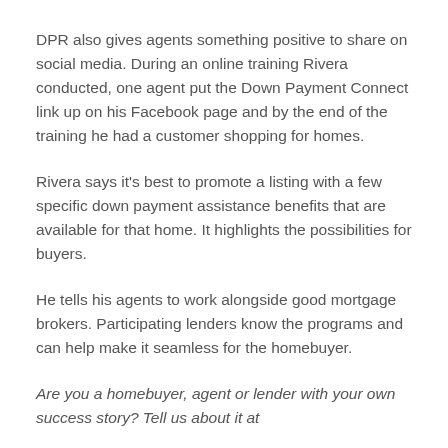DPR also gives agents something positive to share on social media. During an online training Rivera conducted, one agent put the Down Payment Connect link up on his Facebook page and by the end of the training he had a customer shopping for homes.
Rivera says it's best to promote a listing with a few specific down payment assistance benefits that are available for that home. It highlights the possibilities for buyers.
He tells his agents to work alongside good mortgage brokers. Participating lenders know the programs and can help make it seamless for the homebuyer.
Are you a homebuyer, agent or lender with your own success story? Tell us about it at